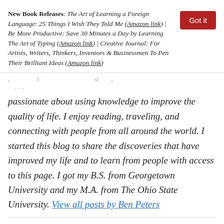New Book Releases: The Art of Learning a Foreign Language: 25 Things I Wish They Told Me (Amazon link) | Be More Productive: Save 30 Minutes a Day by Learning The Art of Typing (Amazon link) | Creative Journal: For Artists, Writers, Thinkers, Inventors & Businessmen To Pen Their Brilliant Ideas (Amazon link)
passionate about using knowledge to improve the quality of life. I enjoy reading, traveling, and connecting with people from all around the world. I started this blog to share the discoveries that have improved my life and to learn from people with access to this page. I got my B.S. from Georgetown University and my M.A. from The Ohio State University. View all posts by Ben Peters